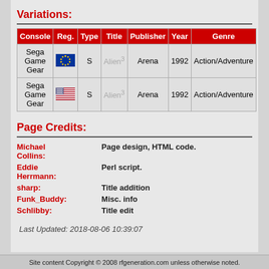Variations:
| Console | Reg. | Type | Title | Publisher | Year | Genre |
| --- | --- | --- | --- | --- | --- | --- |
| Sega Game Gear | [EU flag] | S | Alien³ | Arena | 1992 | Action/Adventure |
| Sega Game Gear | [US flag] | S | Alien³ | Arena | 1992 | Action/Adventure |
Page Credits:
Michael Collins: Page design, HTML code.
Eddie Herrmann: Perl script.
sharp: Title addition
Funk_Buddy: Misc. info
Schlibby: Title edit
Last Updated: 2018-08-06 10:39:07
Site content Copyright © 2008 rfgeneration.com unless otherwise noted.